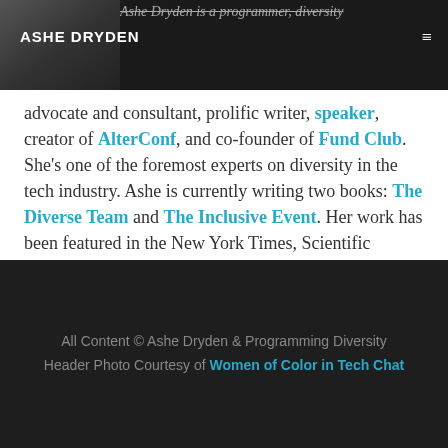ASHE DRYDEN
advocate and consultant, prolific writer, speaker, creator of AlterConf, and co-founder of Fund Club. She's one of the foremost experts on diversity in the tech industry. Ashe is currently writing two books: The Diverse Team and The Inclusive Event. Her work has been featured in the New York Times, Scientific American, Slate, The Nation, Wired, NPR, Bitch Magazine, and more.
All Content © Ashe Dryden & Programming Diversity Header Photo Courtesy of Women of Color in Tech Chat